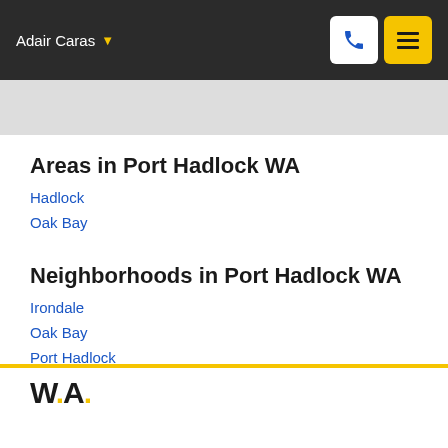Adair Caras
Areas in Port Hadlock WA
Hadlock
Oak Bay
Neighborhoods in Port Hadlock WA
Irondale
Oak Bay
Port Hadlock